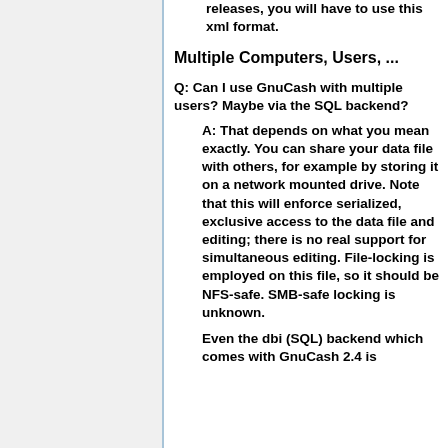releases, you will have to use this xml format.
Multiple Computers, Users, ...
Q: Can I use GnuCash with multiple users? Maybe via the SQL backend?
A: That depends on what you mean exactly. You can share your data file with others, for example by storing it on a network mounted drive. Note that this will enforce serialized, exclusive access to the data file and editing; there is no real support for simultaneous editing. File-locking is employed on this file, so it should be NFS-safe. SMB-safe locking is unknown.
Even the dbi (SQL) backend which comes with GnuCash 2.4 is